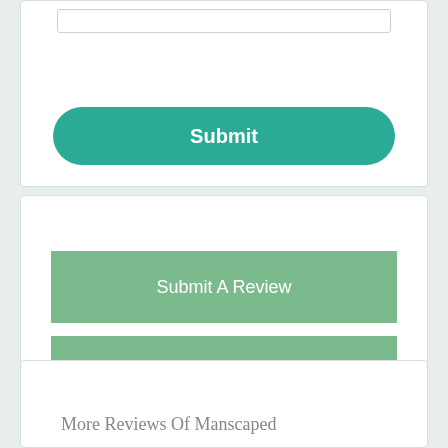[Figure (other): Input field box at top of first card]
Submit
Submit A Review
Join Our Blog Team
More Reviews Of Manscaped